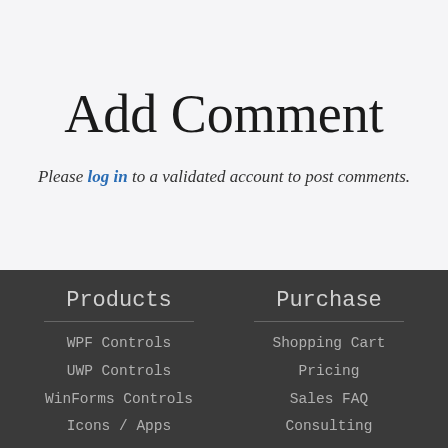Add Comment
Please log in to a validated account to post comments.
Products
WPF Controls
UWP Controls
WinForms Controls
Icons / Apps
Purchase
Shopping Cart
Pricing
Sales FAQ
Consulting